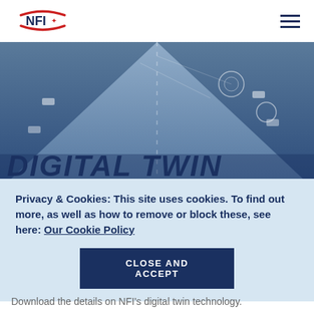NFI logo and navigation menu
[Figure (photo): Aerial/top-down digital illustration of a highway with connected vehicle icons and technology overlays, dark blue tone]
DIGITAL TWIN
Privacy & Cookies: This site uses cookies. To find out more, as well as how to remove or block these, see here: Our Cookie Policy
CLOSE AND ACCEPT
Download the details on NFI's digital twin technology.